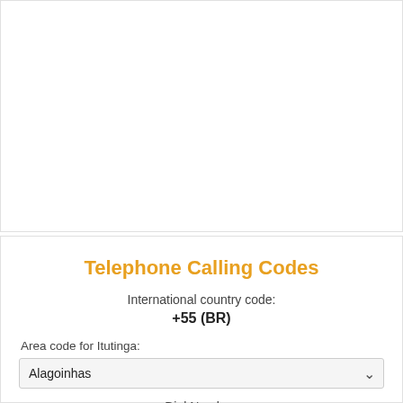Telephone Calling Codes
International country code:
+55 (BR)
Area code for Itutinga:
Alagoinhas
Dial Number: